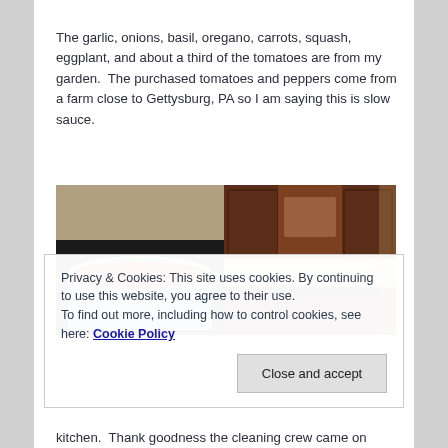The garlic, onions, basil, oregano, carrots, squash, eggplant, and about a third of the tomatoes are from my garden.  The purchased tomatoes and peppers come from a farm close to Gettysburg, PA so I am saying this is slow sauce.
[Figure (photo): Two side-by-side kitchen photos: left shows a large pot with red tomato sauce on a stove; right shows dark wood kitchen cabinets with pots and appliances on the counter.]
Privacy & Cookies: This site uses cookies. By continuing to use this website, you agree to their use.
To find out more, including how to control cookies, see here: Cookie Policy
kitchen.  Thank goodness the cleaning crew came on